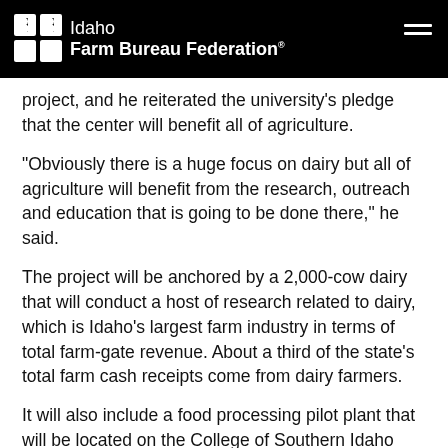Idaho Farm Bureau Federation
project, and he reiterated the university's pledge that the center will benefit all of agriculture.
“Obviously there is a huge focus on dairy but all of agriculture will benefit from the research, outreach and education that is going to be done there,” he said.
The project will be anchored by a 2,000-cow dairy that will conduct a host of research related to dairy, which is Idaho’s largest farm industry in terms of total farm-gate revenue. About a third of the state’s total farm cash receipts come from dairy farmers.
It will also include a food processing pilot plant that will be located on the College of Southern Idaho campus in Twin Falls, and an outreach and education center to be located on a 6-acre parcel of land at the crossroads where